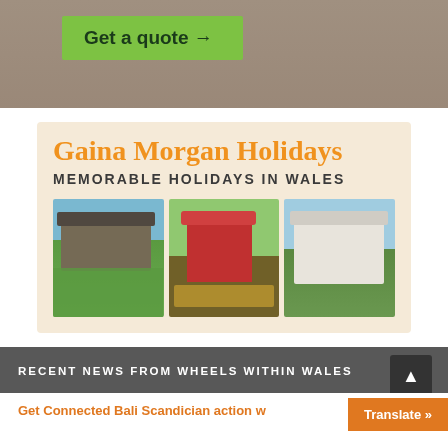[Figure (screenshot): Top banner showing a 'Get a quote →' button on green background over a sandy/ground photo]
[Figure (infographic): Gaina Morgan Holidays advertisement box with orange title, 'MEMORABLE HOLIDAYS IN WALES' subtitle, and three holiday property photos side by side]
RECENT NEWS FROM WHEELS WITHIN WALES
Get Connected Bali Scandician action w...
Translate »